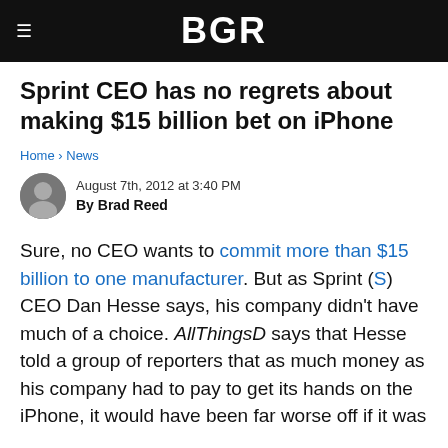BGR
Sprint CEO has no regrets about making $15 billion bet on iPhone
Home › News
August 7th, 2012 at 3:40 PM
By Brad Reed
Sure, no CEO wants to commit more than $15 billion to one manufacturer. But as Sprint (S) CEO Dan Hesse says, his company didn't have much of a choice. AllThingsD says that Hesse told a group of reporters that as much money as his company had to pay to get its hands on the iPhone, it would have been far worse off if it was